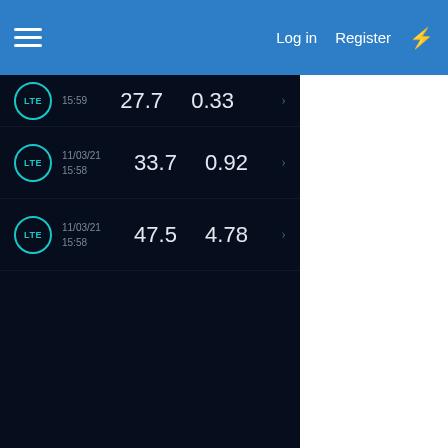Log in  Register
[Figure (screenshot): Mobile network speed test results list on dark background. Three LTE rows visible. Row 1 (partially visible): 15:59, 27.7, 0.33. Row 2: 11/03/21 15:58, 33.7, 0.92. Row 3: 11/03/21 15:58, 47.5, 4.78.]